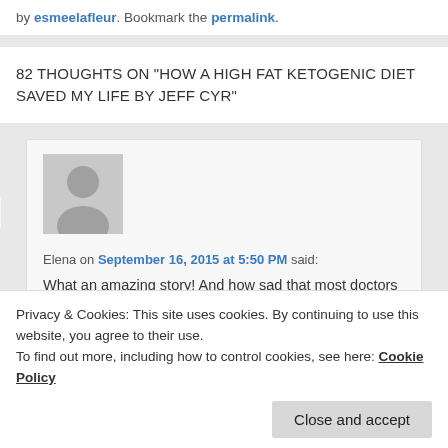by esmeelafleur. Bookmark the permalink.
82 THOUGHTS ON "HOW A HIGH FAT KETOGENIC DIET SAVED MY LIFE BY JEFF CYR"
Elena on September 16, 2015 at 5:50 PM said:
What an amazing story! And how sad that most doctors are completely clueless when it comes to diseases like that. Auto-immune diseases are a
Privacy & Cookies: This site uses cookies. By continuing to use this website, you agree to their use. To find out more, including how to control cookies, see here: Cookie Policy
Close and accept
cured themselves or at least significantly improved